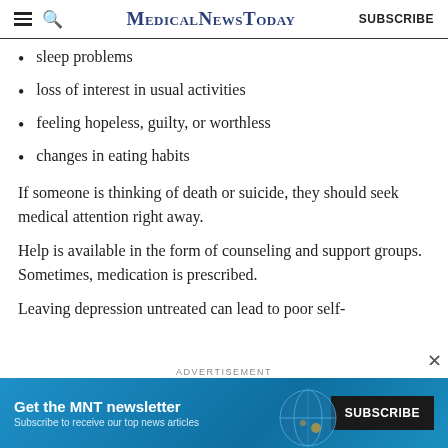MedicalNewsToday | SUBSCRIBE
sleep problems
loss of interest in usual activities
feeling hopeless, guilty, or worthless
changes in eating habits
If someone is thinking of death or suicide, they should seek medical attention right away.
Help is available in the form of counseling and support groups. Sometimes, medication is prescribed.
Leaving depression untreated can lead to poor self-
[Figure (screenshot): Advertisement banner: Get the MNT newsletter. Subscribe to receive our top news articles. SUBSCRIBE button.]